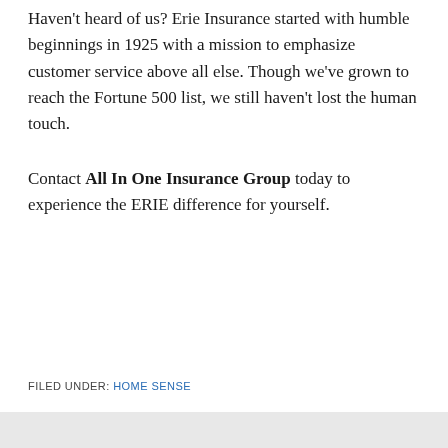Haven't heard of us? Erie Insurance started with humble beginnings in 1925 with a mission to emphasize customer service above all else. Though we've grown to reach the Fortune 500 list, we still haven't lost the human touch.
Contact All In One Insurance Group today to experience the ERIE difference for yourself.
FILED UNDER: HOME SENSE